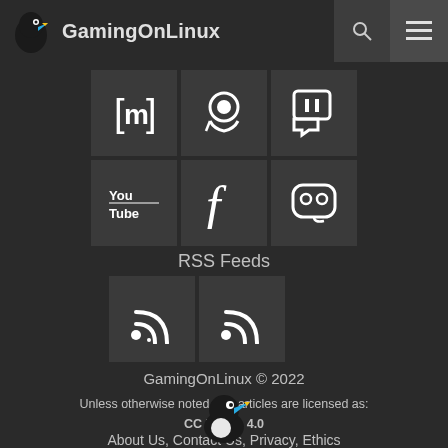GamingOnLinux
[Figure (screenshot): Social media icon grid: Matrix [m], Steam, Twitch, YouTube, Facebook, Mastodon icons in dark tiles]
RSS Feeds
[Figure (screenshot): Two RSS feed icon tiles]
GamingOnLinux © 2022
Unless otherwise noted, our articles are licensed as:
CC BY-SA 4.0
About Us, Contact Us, Privacy, Ethics
[Figure (logo): GamingOnLinux bird mascot logo at bottom]